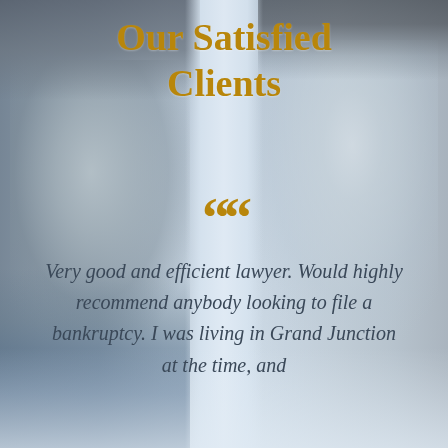[Figure (photo): Background photo collage showing two people: a man on the left wearing a beanie hat and blue shirt, smiling, and a woman on the right with dark hair, smiling, with a light vertical stripe dividing them in the center.]
Our Satisfied Clients
““
Very good and efficient lawyer. Would highly recommend anybody looking to file a bankruptcy. I was living in Grand Junction at the time, and